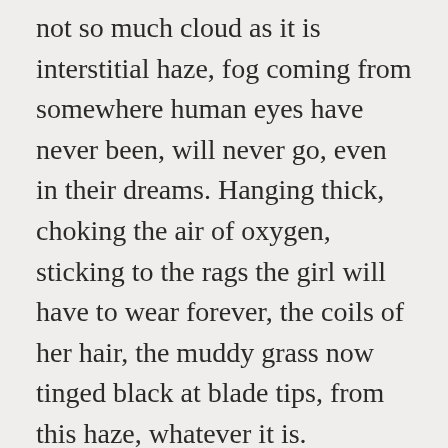not so much cloud as it is interstitial haze, fog coming from somewhere human eyes have never been, will never go, even in their dreams. Hanging thick, choking the air of oxygen, sticking to the rags the girl will have to wear forever, the coils of her hair, the muddy grass now tinged black at blade tips, from this haze, whatever it is.
She'll explore.